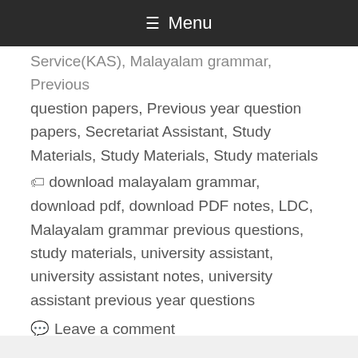≡ Menu
Service(KAS), Malayalam grammar, Previous question papers, Previous year question papers, Secretariat Assistant, Study Materials, Study Materials, Study materials
download malayalam grammar, download pdf, download PDF notes, LDC, Malayalam grammar previous questions, study materials, university assistant, university assistant notes, university assistant previous year questions
Leave a comment